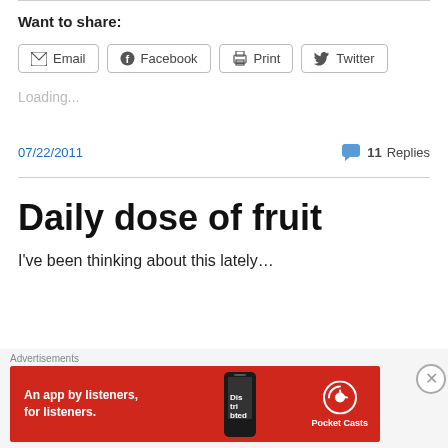Want to share:
Email | Facebook | Print | Twitter
Loading...
07/22/2011
11 Replies
Daily dose of fruit
I've been thinking about this lately...
[Figure (screenshot): Advertisement banner for Pocket Casts app: red background with phone image, text 'An app by listeners, for listeners.' and Pocket Casts logo]